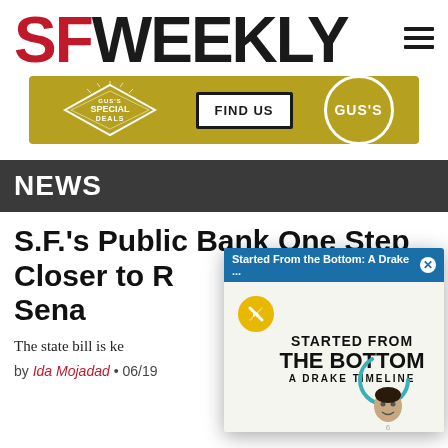SFWEEKLY
[Figure (other): Gus's advertisement banner with diamond logo, SPECIAL DEALS text, FIND US button, and GUS'S logo on golden/yellow background]
NEWS
S.F.'s Public Bank One Step Closer to Reality After State Senate Vote
The state bill is key to allowing the city to run its own bank.
by Ida Mojadad • 06/19
[Figure (screenshot): Video popup overlay: 'Started From the Bottom: A Drake ...' with blue header bar and X close button. Body shows 'STARTED FROM THE BOTTOM A DRAKE TIMELINE' text in bold black on light background, with yellow mute button, teal loading circle, and Drake face illustration.]